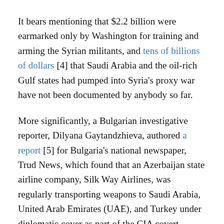It bears mentioning that $2.2 billion were earmarked only by Washington for training and arming the Syrian militants, and tens of billions of dollars [4] that Saudi Arabia and the oil-rich Gulf states had pumped into Syria's proxy war have not been documented by anybody so far.
More significantly, a Bulgarian investigative reporter, Dilyana Gaytandzhieva, authored a report [5] for Bulgaria's national newspaper, Trud News, which found that an Azerbaijan state airline company, Silk Way Airlines, was regularly transporting weapons to Saudi Arabia, United Arab Emirates (UAE), and Turkey under diplomatic cover as part of the CIA covert program to supply militant groups in Syria.